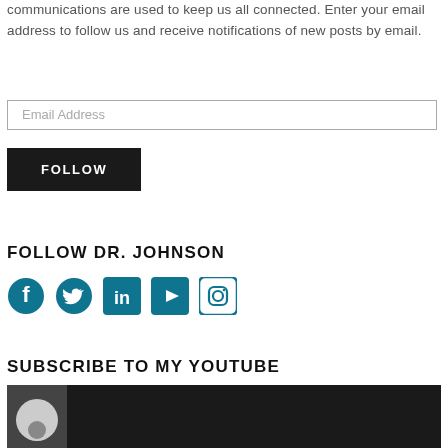communications are used to keep us all connected. Enter your email address to follow us and receive notifications of new posts by email.
[Figure (other): Email address input field with placeholder text 'Email Address']
[Figure (other): Dark button labeled 'FOLLOW']
FOLLOW DR. JOHNSON
[Figure (other): Social media icons: Facebook, Twitter, LinkedIn, YouTube, Instagram — all in teal/dark cyan color]
SUBSCRIBE TO MY YOUTUBE
[Figure (photo): YouTube video thumbnail showing a person (Dr. Johnson) on a dark background]